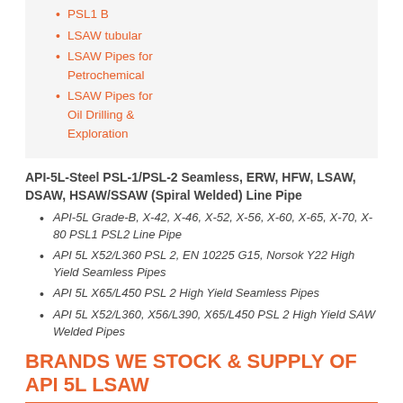PSL1 B
LSAW tubular
LSAW Pipes for Petrochemical
LSAW Pipes for Oil Drilling & Exploration
API-5L-Steel PSL-1/PSL-2 Seamless, ERW, HFW, LSAW, DSAW, HSAW/SSAW (Spiral Welded) Line Pipe
API-5L Grade-B, X-42, X-46, X-52, X-56, X-60, X-65, X-70, X-80 PSL1 PSL2 Line Pipe
API 5L X52/L360 PSL 2, EN 10225 G15, Norsok Y22 High Yield Seamless Pipes
API 5L X65/L450 PSL 2 High Yield Seamless Pipes
API 5L X52/L360, X56/L390, X65/L450 PSL 2 High Yield SAW Welded Pipes
BRANDS WE STOCK & SUPPLY OF API 5L LSAW
Some text about brands and their availability...